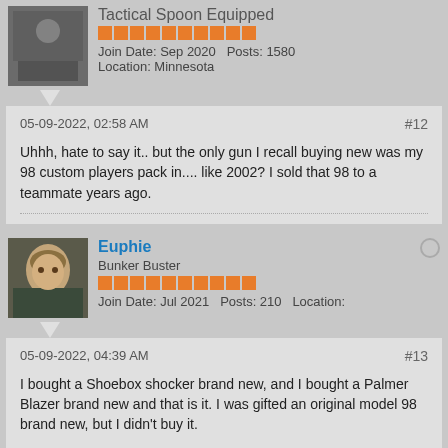Tactical Spoon Equipped
Join Date: Sep 2020   Posts: 1580   Location: Minnesota
05-09-2022, 02:58 AM
#12
Uhhh, hate to say it.. but the only gun I recall buying new was my 98 custom players pack in.... like 2002? I sold that 98 to a teammate years ago.
Euphie
Bunker Buster
Join Date: Jul 2021   Posts: 210   Location:
05-09-2022, 04:39 AM
#13
I bought a Shoebox shocker brand new, and I bought a Palmer Blazer brand new and that is it. I was gifted an original model 98 brand new, but I didn't buy it.

But, I have tons of cameras and lenses, and I have literally only bought